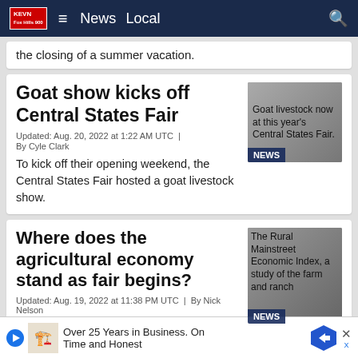KEVN | News | Local
the closing of a summer vacation.
Goat show kicks off Central States Fair
Updated: Aug. 20, 2022 at 1:22 AM UTC  |
By Cyle Clark
To kick off their opening weekend, the Central States Fair hosted a goat livestock show.
[Figure (photo): Goat livestock show at this year's Central States Fair. NEWS badge overlay.]
Where does the agricultural economy stand as fair begins?
Updated: Aug. 19, 2022 at 11:38 PM UTC  |  By Nick Nelson
The Rural Mainstreet Economic Index, a study of the farm and ranch
[Figure (photo): The Rural Mainstreet Economic Index, a study of the farm and ranch. NEWS badge overlay.]
Over 25 Years in Business. On Time and Honest